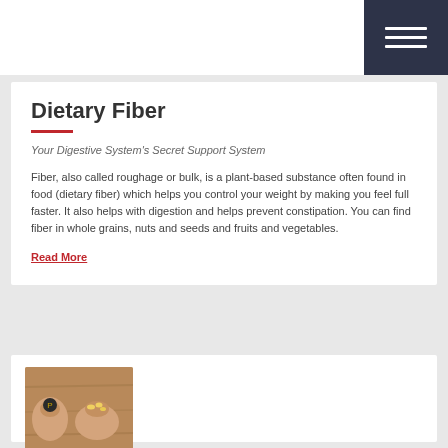Dietary Fiber
Your Digestive System's Secret Support System
Fiber, also called roughage or bulk, is a plant-based substance often found in food (dietary fiber) which helps you control your weight by making you feel full faster. It also helps with digestion and helps prevent constipation. You can find fiber in whole grains, nuts and seeds and fruits and vegetables.
Read More
[Figure (photo): Hands holding seeds/supplements on a wooden surface]